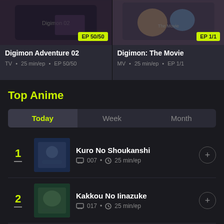[Figure (screenshot): Anime card thumbnail for Digimon Adventure 02 with dark background and logo]
EP 50/50
Digimon Adventure 02
TV • 25 min/ep • EP 50/50
[Figure (screenshot): Anime card thumbnail for Digimon: The Movie with colorful character art]
EP 1/1
Digimon: The Movie
MV • 25 min/ep • EP 1/1
Top Anime
Today
Week
Month
1
[Figure (photo): Thumbnail for Kuro No Shoukanshi anime]
Kuro No Shoukanshi
007 • 25 min/ep
2
[Figure (photo): Thumbnail for Kakkou No Iinazuke anime]
Kakkou No Iinazuke
017 • 25 min/ep